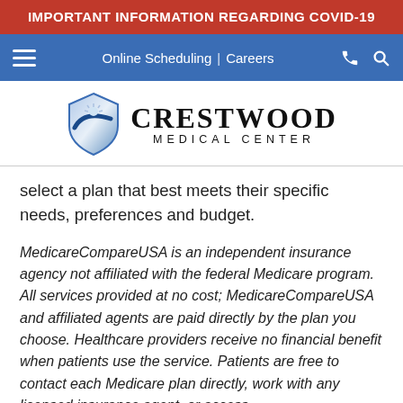IMPORTANT INFORMATION REGARDING COVID-19
[Figure (logo): Crestwood Medical Center logo with shield icon]
select a plan that best meets their specific needs, preferences and budget.
MedicareCompareUSA is an independent insurance agency not affiliated with the federal Medicare program. All services provided at no cost; MedicareCompareUSA and affiliated agents are paid directly by the plan you choose. Healthcare providers receive no financial benefit when patients use the service. Patients are free to contact each Medicare plan directly, work with any licensed insurance agent, or access